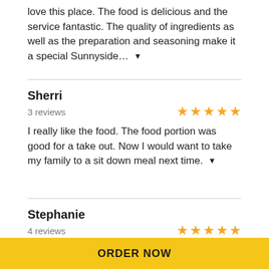love this place. The food is delicious and the service fantastic. The quality of ingredients as well as the preparation and seasoning make it a special Sunnyside…
Sherri
3 reviews ★★★★★
I really like the food. The food portion was good for a take out. Now I would want to take my family to a sit down meal next time.
Stephanie
4 reviews ★★★★★
This is the BEST restaurant in Sunnyside and makes the BEST burger. Its packed perfectly for delivery.
ORDER NOW